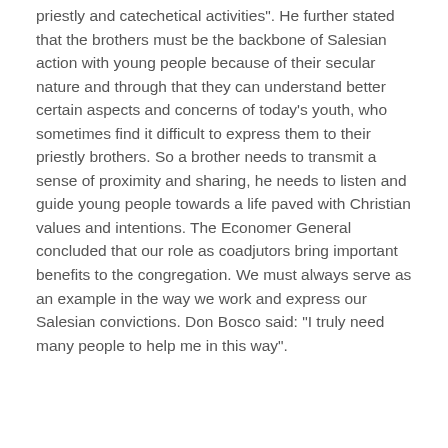priestly and catechetical activities". He further stated that the brothers must be the backbone of Salesian action with young people because of their secular nature and through that they can understand better certain aspects and concerns of today’s youth, who sometimes find it difficult to express them to their priestly brothers. So a brother needs to transmit a sense of proximity and sharing, he needs to listen and guide young people towards a life paved with Christian values and intentions. The Economer General concluded that our role as coadjutors bring important benefits to the congregation. We must always serve as an example in the way we work and express our Salesian convictions. Don Bosco said: “I truly need many people to help me in this way”.